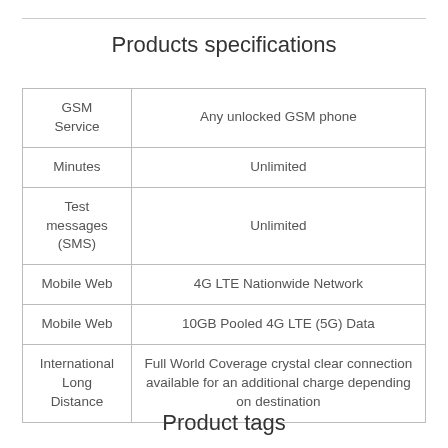Products specifications
|  |  |
| --- | --- |
| GSM Service | Any unlocked GSM phone |
| Minutes | Unlimited |
| Test messages (SMS) | Unlimited |
| Mobile Web | 4G LTE Nationwide Network |
| Mobile Web | 10GB Pooled 4G LTE (5G) Data |
| International Long Distance | Full World Coverage crystal clear connection available for an additional charge depending on destination |
Product tags